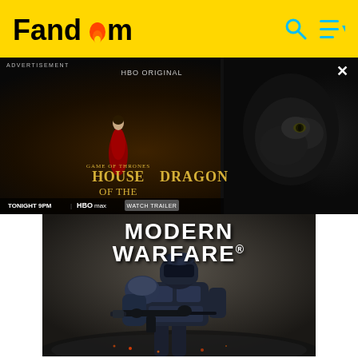Fandom
[Figure (screenshot): Fandom website header with yellow background, Fandom logo in black and orange, search icon and menu icon on the right]
[Figure (photo): Advertisement banner for HBO Original 'House of the Dragon' - Game of Thrones prequel. Shows a woman in red dress standing before a dragon, with text 'GAME OF THRONES HOUSE OF THE DRAGON TONIGHT 9PM | HBO MAX | WATCH TRAILER'. Also shows a dark creature on the right side. Has ADVERTISEMENT label and X close button.]
[Figure (photo): Call of Duty Modern Warfare advertisement image showing an armored soldier holding a rifle, with 'MODERN WARFARE.' text in large white bold letters at top of image]